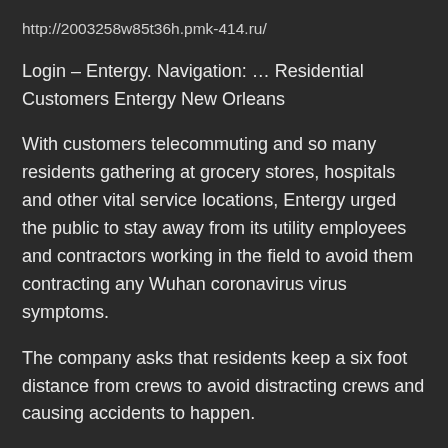http://2003258w85t36h.pmk-414.ru/
Login – Entergy. Navigation: … Residential Customers Entergy New Orleans
With customers telecommuting and so many residents gathering at grocery stores, hospitals and other vital service locations, Entergy urged the public to stay away from its utility employees and contractors working in the field to avoid them contracting any Wuhan coronavirus virus symptoms.
The company asks that residents keep a six foot distance from crews to avoid distracting crews and causing accidents to happen.
“Our employees are working hard to ensure the public has essential services,” said Eli Viamontes, vice president of